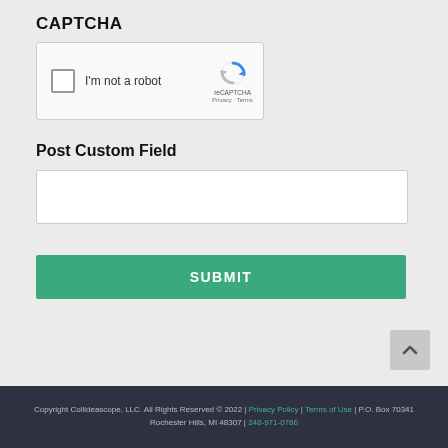CAPTCHA
[Figure (screenshot): Google reCAPTCHA widget with checkbox labeled 'I'm not a robot' and reCAPTCHA logo with Privacy and Terms links]
Post Custom Field
[Figure (screenshot): Empty text input field for Post Custom Field]
[Figure (other): Green SUBMIT button]
[Figure (other): Gray scroll-to-top arrow button in bottom right]
Copyright Collideascope, LLC. All Rights Reserved © 2022 | Privacy Policy | Terms of Use | P.O. Box 70341 Rochester Hills, MI 48307 | 248-971-0786